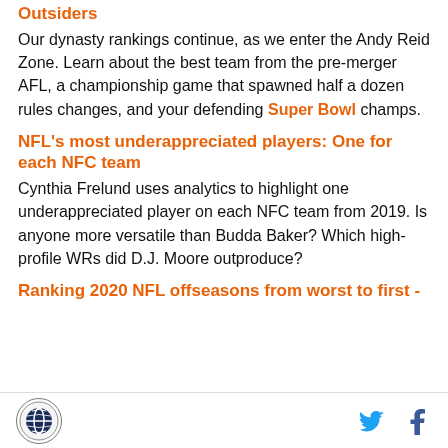Outsiders
Our dynasty rankings continue, as we enter the Andy Reid Zone. Learn about the best team from the pre-merger AFL, a championship game that spawned half a dozen rules changes, and your defending Super Bowl champs.
NFL's most underappreciated players: One for each NFC team
Cynthia Frelund uses analytics to highlight one underappreciated player on each NFC team from 2019. Is anyone more versatile than Budda Baker? Which high-profile WRs did D.J. Moore outproduce?
Ranking 2020 NFL offseasons from worst to first -
logo, Twitter, Facebook icons